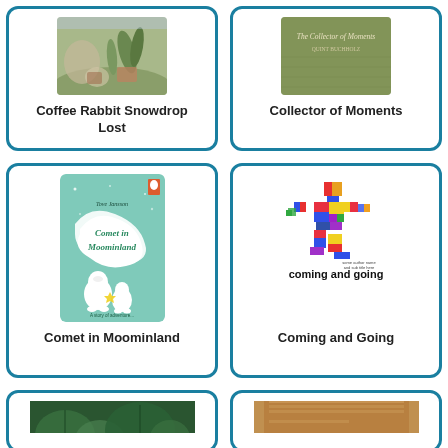[Figure (illustration): Book cover for 'Coffee Rabbit Snowdrop Lost' - illustrated children's book cover with nature/garden theme]
Coffee Rabbit Snowdrop Lost
[Figure (illustration): Book cover for 'Collector of Moments' - green textured book cover]
Collector of Moments
[Figure (illustration): Book cover for 'Comet in Moominland' by Tove Jansson - teal cover with Moomin characters and swirling comet]
Comet in Moominland
[Figure (illustration): Book cover for 'Coming and Going' - white cover with colorful geometric figure made of rectangles walking]
Coming and Going
[Figure (illustration): Book cover - dark green/forest theme, partially visible at bottom]
[Figure (illustration): Book cover - brown/warm tones, partially visible at bottom]